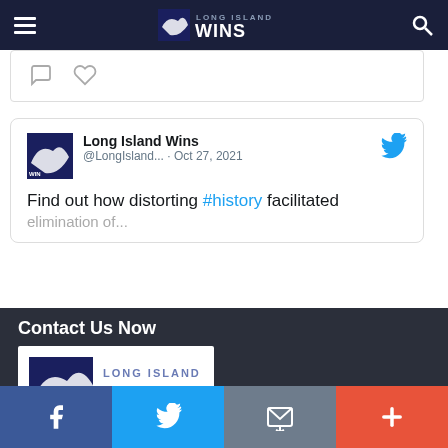Long Island Wins — navigation bar
[Figure (screenshot): Twitter social interaction icons: comment bubble and heart/like]
[Figure (screenshot): Tweet by Long Island Wins (@LongIsland...) dated Oct 27, 2021. Text: Find out how distorting #history facilitated...]
Contact Us Now
[Figure (logo): Long Island Wins logo — navy square with map outline and text LONG ISLAND WINS]
Social sharing bar: Facebook, Twitter, Email, More